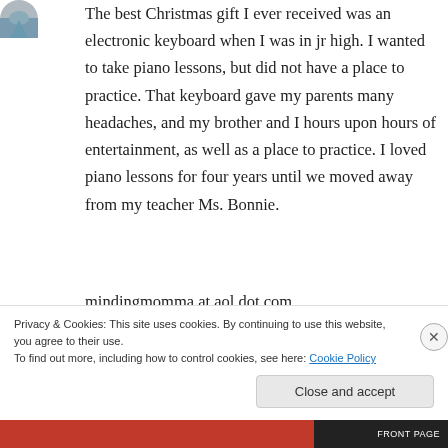[Figure (photo): Small circular avatar image of a person or landscape, partially visible in top-left corner]
The best Christmas gift I ever received was an electronic keyboard when I was in jr high. I wanted to take piano lessons, but did not have a place to practice. That keyboard gave my parents many headaches, and my brother and I hours upon hours of entertainment, as well as a place to practice. I loved piano lessons for four years until we moved away from my teacher Ms. Bonnie.
mindingmomma at aol dot com
Privacy & Cookies: This site uses cookies. By continuing to use this website, you agree to their use.
To find out more, including how to control cookies, see here: Cookie Policy
Close and accept